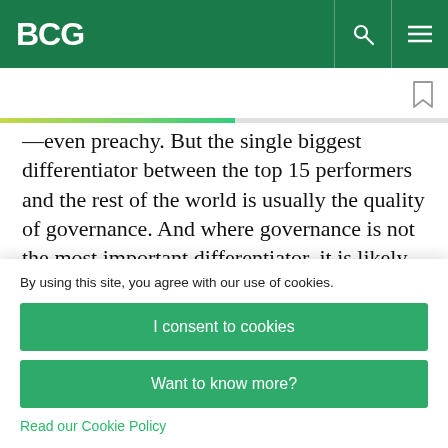BCG
—even preachy. But the single biggest differentiator between the top 15 performers and the rest of the world is usually the quality of governance. And where governance is not the most important differentiator, it is likely to be second.
By using this site, you agree with our use of cookies.
I consent to cookies
Want to know more?
Read our Cookie Policy